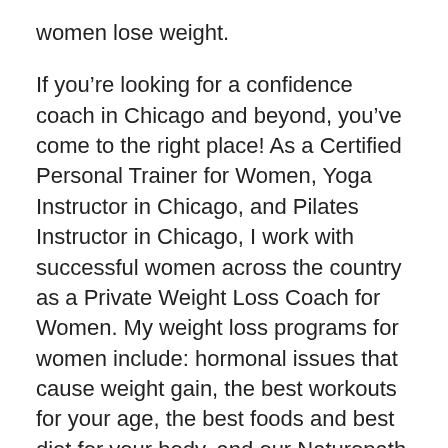women lose weight.
If you’re looking for a confidence coach in Chicago and beyond, you’ve come to the right place! As a Certified Personal Trainer for Women, Yoga Instructor in Chicago, and Pilates Instructor in Chicago, I work with successful women across the country as a Private Weight Loss Coach for Women. My weight loss programs for women include: hormonal issues that cause weight gain, the best workouts for your age, the best foods and best diet for your body, and our Naturopath Doctor who analyzes all of my private weight loss clients’ bloodwork.
Here are a few more things that I do as a weight loss consultant in Chicago: Health & Fitness